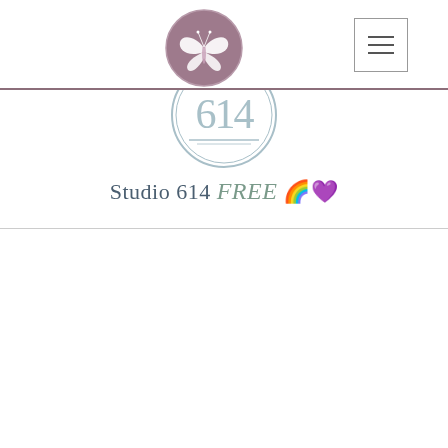[Figure (logo): Butterfly logo in a purple circle, navigation bar with hamburger menu icon]
[Figure (logo): Studio 614 circular logo with scissors graphic]
Studio 614 FREE 🏳️‍🌈
[Figure (photo): Interior photo of a decorated event/gathering space with white drapes, chairs, floral arrangements, and hardwood floors]
The Gathering Space @1091 Eastwind 🏳️‍🌈